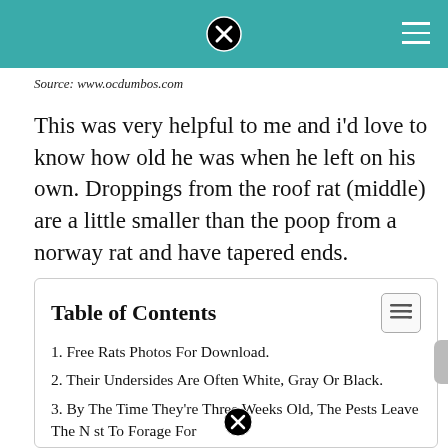[teal header bar with close icon and hamburger menu]
Source: www.ocdumbos.com
This was very helpful to me and i'd love to know how old he was when he left on his own. Droppings from the roof rat (middle) are a little smaller than the poop from a norway rat and have tapered ends.
Table of Contents
1. Free Rats Photos For Download.
2. Their Undersides Are Often White, Gray Or Black.
3. By The Time They're Three Weeks Old, The Pests Leave The Nest To Forage For